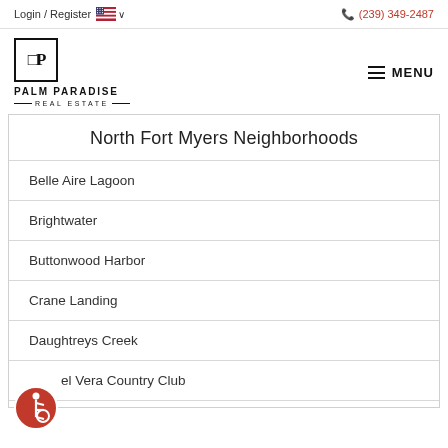Login / Register   🇺🇸 ∨   (239) 349-2487
[Figure (logo): Palm Paradise Real Estate logo — square icon with stylized P letters, company name below]
North Fort Myers Neighborhoods
Belle Aire Lagoon
Brightwater
Buttonwood Harbor
Crane Landing
Daughtreys Creek
el Vera Country Club
[Figure (illustration): Accessibility icon — red circle with wheelchair user symbol]